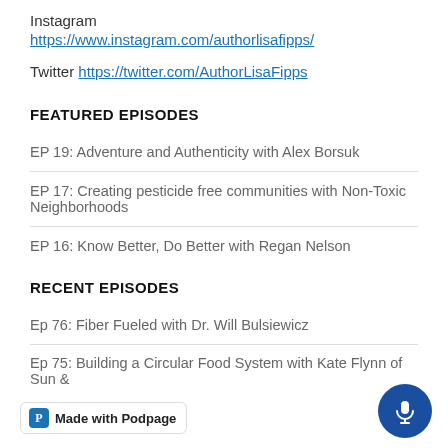Instagram
https://www.instagram.com/authorlisafipps/
Twitter https://twitter.com/AuthorLisaFipps
FEATURED EPISODES
EP 19: Adventure and Authenticity with Alex Borsuk
EP 17: Creating pesticide free communities with Non-Toxic Neighborhoods
EP 16: Know Better, Do Better with Regan Nelson
RECENT EPISODES
Ep 76: Fiber Fueled with Dr. Will Bulsiewicz
Ep 75: Building a Circular Food System with Kate Flynn of Sun &
Made with Podpage